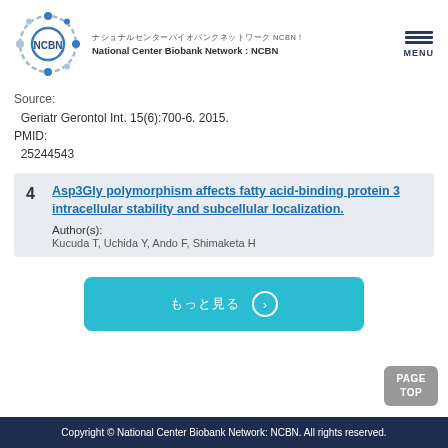National Center Biobank Network : NCBN
Source:
  Geriatr Gerontol Int. 15(6):700-6. 2015.
PMID:
  25244543
4  Asp3Gly polymorphism affects fatty acid-binding protein 3 intracellular stability and subcellular localization.
Author(s):
Kucuda T, Uchida Y, Ando F, Shimaketa H
もっと見る (button)
Copyright © National Center Biobank Network: NCBN. All rights reserved.